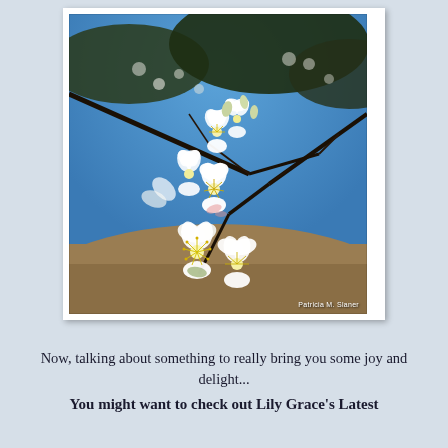[Figure (photo): Close-up photograph of white spring blossoms (cherry or plum flowers) on a tree branch against a blue sky with out-of-focus background of earth and more branches. Watermark reads 'Patricia M. Slaner' in bottom right corner.]
Now, talking about something to really bring you some joy and delight...
You might want to check out Lily Grace's Latest